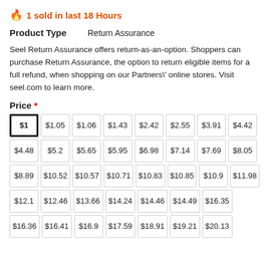🔥 1 sold in last 18 Hours
Product Type    Return Assurance
Seel Return Assurance offers return-as-an-option. Shoppers can purchase Return Assurance, the option to return eligible items for a full refund, when shopping on our Partners\' online stores. Visit seel.com to learn more.
Price *
| $1 | $1.05 | $1.06 | $1.43 | $2.42 | $2.55 | $3.91 | $4.42 |
| $4.48 | $5.2 | $5.65 | $5.95 | $6.98 | $7.14 | $7.69 | $8.05 |
| $8.89 | $10.52 | $10.57 | $10.71 | $10.83 | $10.85 | $10.9 | $11.98 |
| $12.1 | $12.46 | $13.66 | $14.24 | $14.46 | $14.49 | $16.35 |  |
| $16.36 | $16.41 | $16.9 | $17.59 | $18.91 | $19.21 | $20.13 |  |